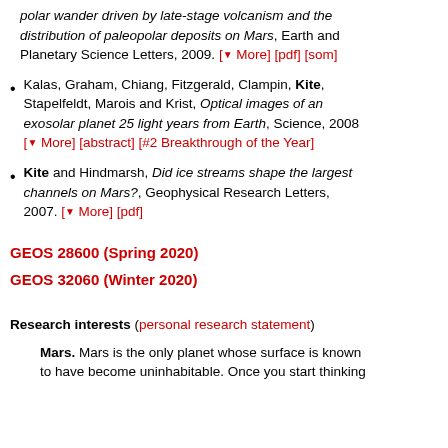polar wander driven by late-stage volcanism and the distribution of paleopolar deposits on Mars, Earth and Planetary Science Letters, 2009. [▾ More] [pdf] [som]
Kalas, Graham, Chiang, Fitzgerald, Clampin, Kite, Stapelfeldt, Marois and Krist, Optical images of an exosolar planet 25 light years from Earth, Science, 2008 [▾ More] [abstract] [#2 Breakthrough of the Year]
Kite and Hindmarsh, Did ice streams shape the largest channels on Mars?, Geophysical Research Letters, 2007. [▾ More] [pdf]
GEOS 28600 (Spring 2020)
GEOS 32060 (Winter 2020)
Research interests (personal research statement)
Mars. Mars is the only planet whose surface is known to have become uninhabitable. Once you start thinking